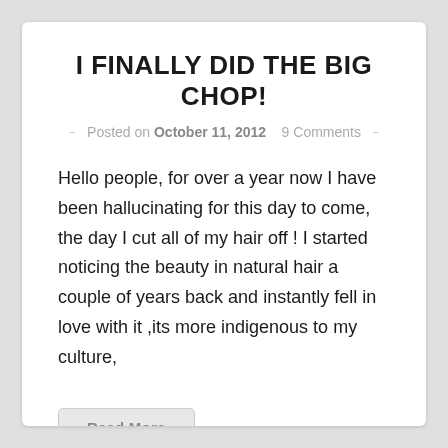I FINALLY DID THE BIG CHOP!
Posted on October 11, 2012    9 Comments
Hello people, for over a year now I have been hallucinating for this day to come, the day I cut all of my hair off ! I started noticing the beauty in natural hair a couple of years back and instantly fell in love with it ,its more indigenous to my culture,
Read More